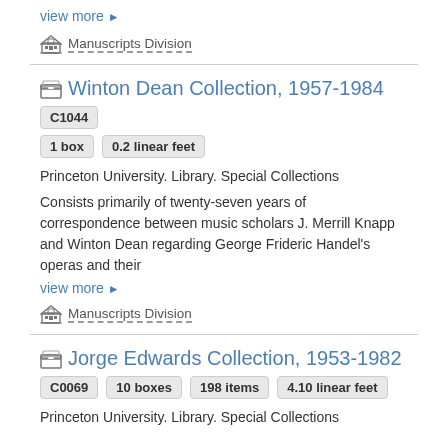view more ▶
Manuscripts Division
Winton Dean Collection, 1957-1984 C1044
1 box   0.2 linear feet
Princeton University. Library. Special Collections
Consists primarily of twenty-seven years of correspondence between music scholars J. Merrill Knapp and Winton Dean regarding George Frideric Handel's operas and their
view more ▶
Manuscripts Division
Jorge Edwards Collection, 1953-1982
C0069   10 boxes   198 items   4.10 linear feet
Princeton University. Library. Special Collections